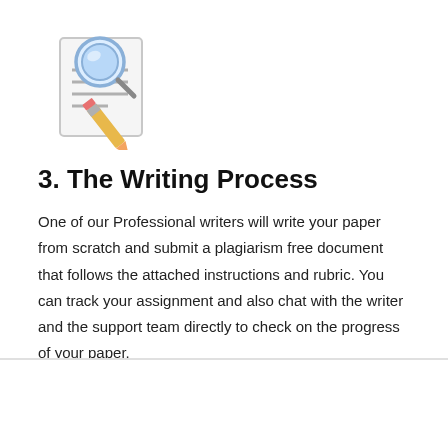[Figure (illustration): Icon of a document with a magnifying glass and a pencil overlaid, representing search and writing]
3. The Writing Process
One of our Professional writers will write your paper from scratch and submit a plagiarism free document that follows the attached instructions and rubric. You can track your assignment and also chat with the writer and the support team directly to check on the progress of your paper.
[Figure (illustration): Folder icon with green accent tab, partially visible at bottom of page]
[Figure (other): Blue rounded square scroll-to-top button with upward chevron arrow]